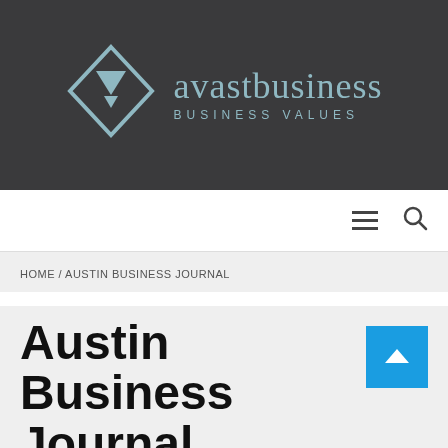[Figure (logo): Avast Business logo: light blue diamond shape with downward chevron inside, next to text 'avastbusiness' and 'BUSINESS VALUES' on dark grey background]
Navigation bar with hamburger menu and search icon
HOME / AUSTIN BUSINESS JOURNAL
Austin Business Journal